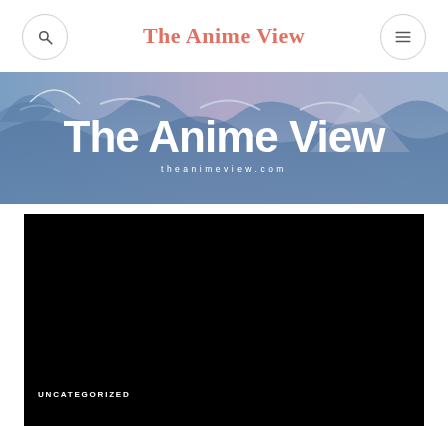The Anime View
[Figure (illustration): Banner with Great Wave style background, large white text 'The Anime View' and subtitle 'theanimeview.com']
[Figure (photo): Black/dark article thumbnail image]
UNCATEGORIZED